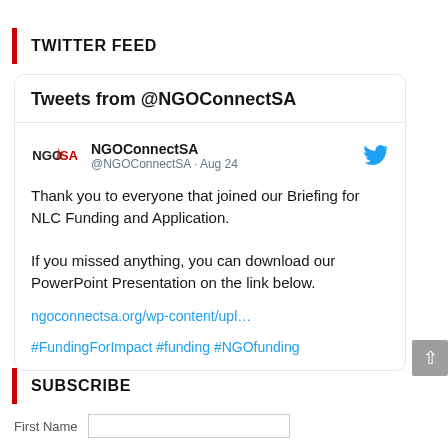TWITTER FEED
[Figure (screenshot): Embedded Twitter feed showing tweets from @NGOConnectSA account with a tweet from Aug 24 about NLC Funding Briefing]
SUBSCRIBE
First Name